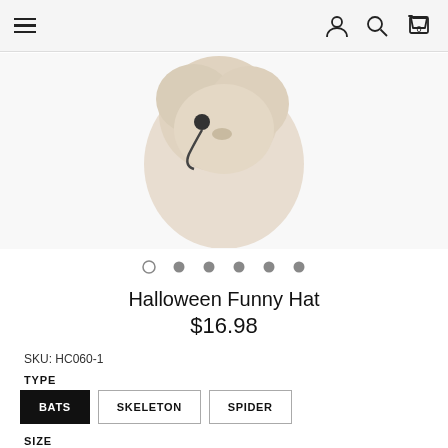Navigation header with hamburger menu, user icon, search icon, and cart (0)
[Figure (photo): A cat or fluffy animal wearing a small black headset/headphone accessory, photographed against a white background. The image is cropped showing mainly the head and upper body of the animal.]
Halloween Funny Hat
$16.98
SKU: HC060-1
TYPE
BATS  SKELETON  SPIDER
SIZE